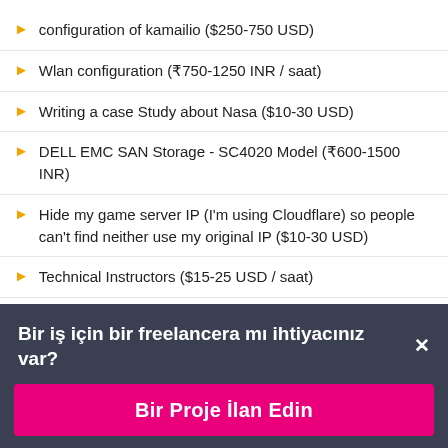configuration of kamailio ($250-750 USD)
Wlan configuration (₹750-1250 INR / saat)
Writing a case Study about Nasa ($10-30 USD)
DELL EMC SAN Storage - SC4020 Model (₹600-1500 INR)
Hide my game server IP (I'm using Cloudflare) so people can't find neither use my original IP ($10-30 USD)
Technical Instructors ($15-25 USD / saat)
Administrative Assistant (₹600-1500 INR)
Earned Media Professionals for PR in the US ($750-1500
Bir iş için bir freelancera mı ihtiyacınız var?
Bir Proje İlan Edin